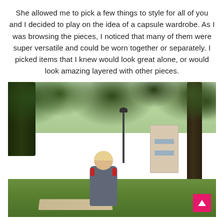She allowed me to pick a few things to style for all of you and I decided to play on the idea of a capsule wardrobe. As I was browsing the pieces, I noticed that many of them were super versatile and could be worn together or separately. I picked items that I knew would look great alone, or would look amazing layered with other pieces.
[Figure (photo): A blonde woman wearing sunglasses, a gray top, and red tassel earrings, smiling outdoors in a park setting with large oak trees, a street lamp, parked cars, and a building in the background. A pink scroll-to-top button is visible in the bottom-right corner of the photo.]